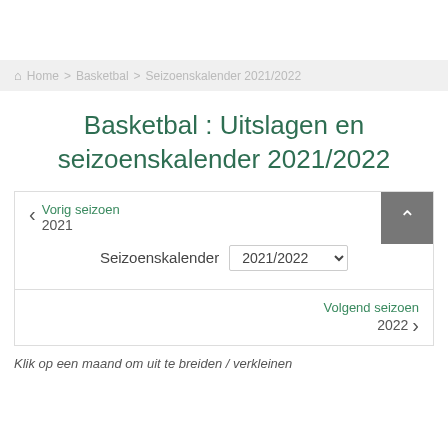Home > Basketbal > Seizoenskalender 2021/2022
Basketbal : Uitslagen en seizoenskalender 2021/2022
Vorig seizoen
2021
Seizoenskalender  2021/2022
Volgend seizoen
2022
Klik op een maand om uit te breiden / verkleinen